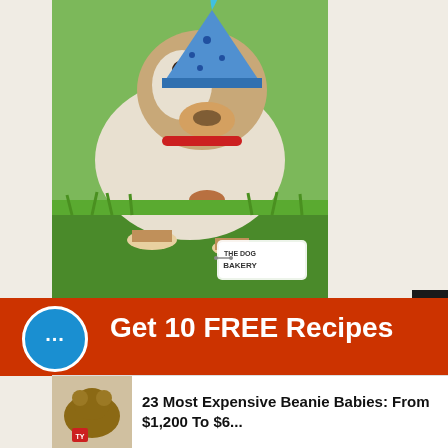[Figure (photo): Dog wearing a blue polka-dot party hat, looking down at cupcakes/treats on a picnic blanket with green grass background, The Dog Bakery logo visible]
[Figure (photo): Two dogs wearing pink party hats — a fluffy dog on the left smiling and a brown dog on the right, outdoors with fence background]
[Figure (other): Best Sellers vertical tab on the right side]
[Figure (other): Red promotional banner with chat bubble icon and text Get 10 FREE Recipes]
[Figure (other): Promotional card showing Beanie Babies article thumbnail and headline: 23 Most Expensive Beanie Babies: From $1,200 To $6...]